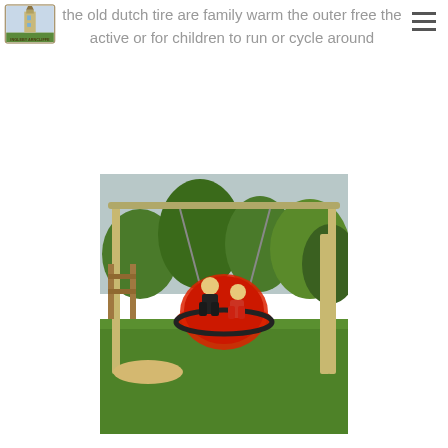[Figure (logo): Ingleby Arncliffe Parish Council logo with lighthouse/tower icon and text]
the old dutch tire are family warm the outer free the active or for children to run or cycle around
[Figure (photo): Children sitting on a large circular red nest swing at a playground. Green grass and wooden climbing frames visible in background with trees.]